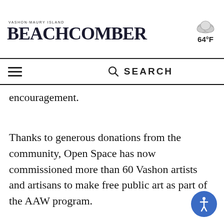Vashon-Maury Island BEACHCOMBER
64°F
SEARCH
encouragement.
Thanks to generous donations from the community, Open Space has now commissioned more than 60 Vashon artists and artisans to make free public art as part of the AAW program.
Previous AAW projects include The Distance Dance Project; The Mural Project, which is available to view online and at Open Space; The Literary Project, which is still available online and via podcast; Creating Your Story, a workshop for teens led by